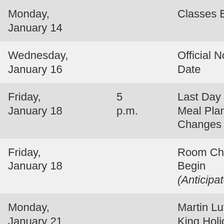| Date | Time | Event |
| --- | --- | --- |
| Monday, January 14 |  | Classes Begin |
| Wednesday, January 16 |  | Official No Show Date |
| Friday, January 18 | 5 p.m. | Last Day to Make Meal Plan Changes |
| Friday, January 18 |  | Room Changes Begin (Anticipated) |
| Monday, January 21 |  | Martin Luther King Holiday (Food Service |